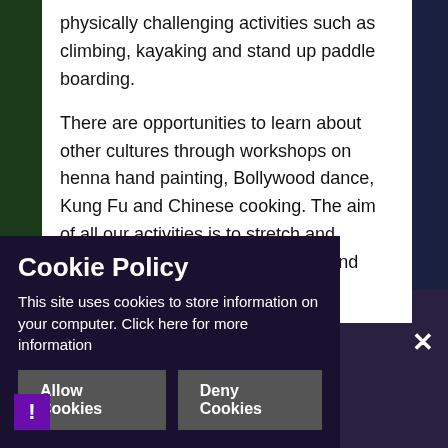physically challenging activities such as climbing, kayaking and stand up paddle boarding.
There are opportunities to learn about other cultures through workshops on henna hand painting, Bollywood dance, Kung Fu and Chinese cooking. The aim of all our activities is to stretch and stimulate, provide health benefits and promote excellence.
Duke of Edinburgh Award
Credits partially visible: Edinburgh Award at Gold and Silver level
Cookie Policy
This site uses cookies to store information on your computer. Click here for more information
Allow Cookies | Deny Cookies